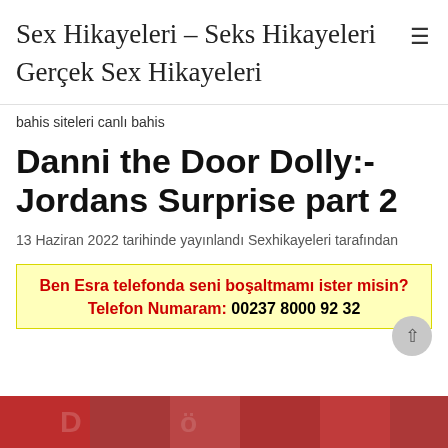Sex Hikayeleri – Seks Hikayeleri
Gerçek Sex Hikayeleri
bahis siteleri canlı bahis
Danni the Door Dolly:- Jordans Surprise part 2
13 Haziran 2022 tarihinde yayınlandı Sexhikayeleri tarafından
Ben Esra telefonda seni boşaltmamı ister misin?
Telefon Numaram: 00237 8000 92 32
[Figure (photo): Partial image strip at the bottom of the page showing colorful content]